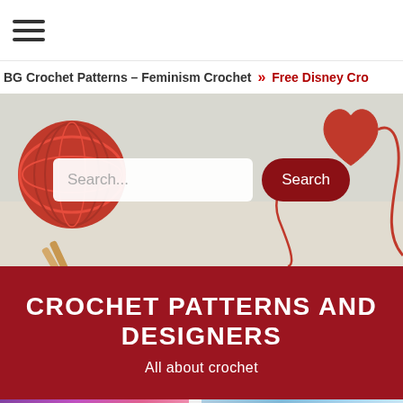Navigation menu / hamburger icon
BG Crochet Patterns – Feminism Crochet » Free Disney Cro…
[Figure (screenshot): Hero banner image showing a red yarn ball with knitting needles on the left and a red heart made of yarn on the right, with a white search bar in the center containing placeholder text 'Search...' and a dark red rounded 'Search' button.]
CROCHET PATTERNS AND DESIGNERS
All about crochet
[Figure (photo): Bottom strip showing two photos of crocheted items: on the left, colorful pink/purple crochet items, and on the right, a blue/white crochet item.]